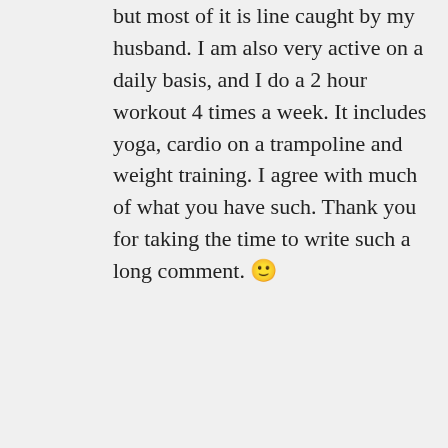but most of it is line caught by my husband. I am also very active on a daily basis, and I do a 2 hour workout 4 times a week. It includes yoga, cardio on a trampoline and weight training. I agree with much of what you have such. Thank you for taking the time to write such a long comment. 🙂
★ Liked by 3 people
↳ Reply
SoundEagle 🗻ᴸᴼᴠᴱ on June 2, 2020 at 12:09 pm
You are very welcome, Kamini.
Thank you for finding and approving